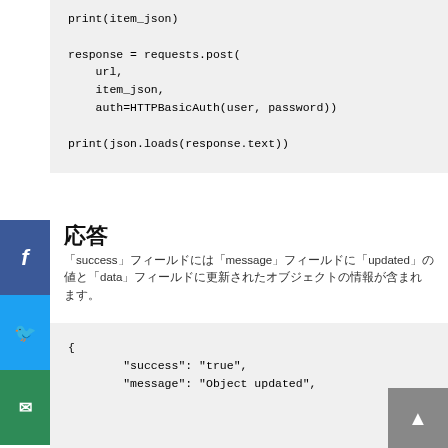print(item_json)

response = requests.post(
    url,
    item_json,
    auth=HTTPBasicAuth(user, password))

print(json.loads(response.text))
응답
「success」フィールドには「message」フィールドに「updated」の値と「data」フィールドに更新されたオブジェクトの情報が含まれます。
{
    "success": "true",
    "message": "Object updated",